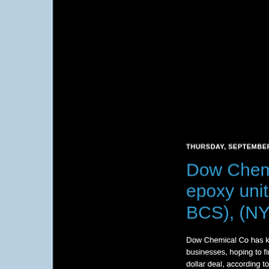THURSDAY, SEPTEMBER 25
Dow Chemical epoxy units -so BCS), (NYSE: D
Dow Chemical Co has kic businesses, hoping to find dollar deal, according to p based company has hired the process, the people s this week.Combined, the